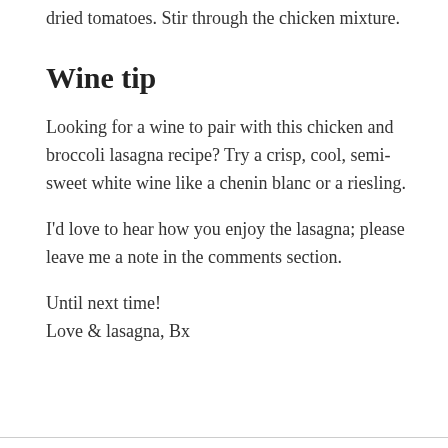dried tomatoes. Stir through the chicken mixture.
Wine tip
Looking for a wine to pair with this chicken and broccoli lasagna recipe? Try a crisp, cool, semi-sweet white wine like a chenin blanc or a riesling.
I'd love to hear how you enjoy the lasagna; please leave me a note in the comments section.
Until next time!
Love & lasagna, Bx